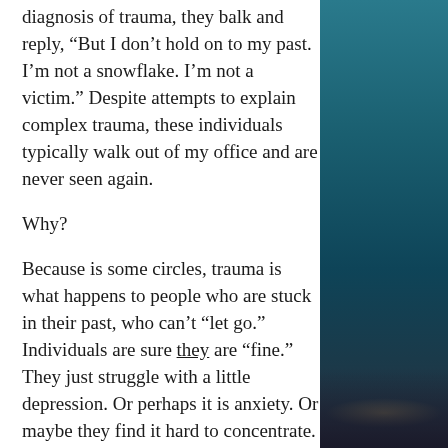diagnosis of trauma, they balk and reply, “But I don’t hold on to my past. I’m not a snowflake. I’m not a victim.” Despite attempts to explain complex trauma, these individuals typically walk out of my office and are never seen again.
Why?
Because is some circles, trauma is what happens to people who are stuck in their past, who can’t “let go.” Individuals are sure they are “fine.” They just struggle with a little depression. Or perhaps it is anxiety. Or maybe they find it hard to concentrate. Or sleep eludes them. Must be something else, life maybe...
[Figure (photo): Night cityscape photo with teal/blue sky and city lights at bottom, occupying the right side of the page]